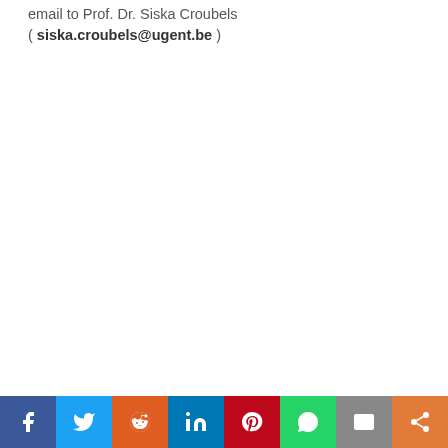email to Prof. Dr. Siska Croubels ( siska.croubels@ugent.be )
Social share bar: Facebook, Twitter, Reddit, LinkedIn, Pinterest, WhatsApp, Email, Share